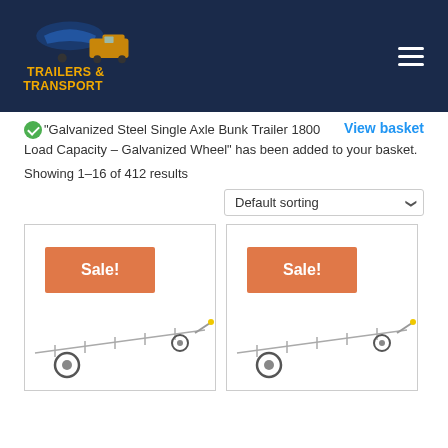[Figure (logo): Trailers & Transport logo with boat and truck illustration on dark navy background header]
“Galvanized Steel Single Axle Bunk Trailer 1800 Load Capacity – Galvanized Wheel” has been added to your basket.
View basket
Showing 1–16 of 412 results
Default sorting
[Figure (photo): Product card showing a galvanized steel single axle bunk boat trailer with Sale! badge]
[Figure (photo): Product card showing a galvanized steel single axle bunk boat trailer with Sale! badge]